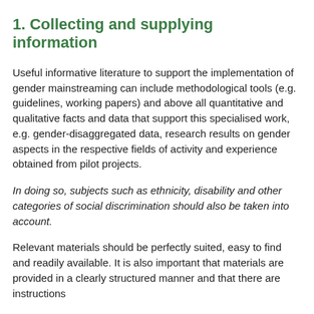1. Collecting and supplying information
Useful informative literature to support the implementation of gender mainstreaming can include methodological tools (e.g. guidelines, working papers) and above all quantitative and qualitative facts and data that support this specialised work, e.g. gender-disaggregated data, research results on gender aspects in the respective fields of activity and experience obtained from pilot projects.
In doing so, subjects such as ethnicity, disability and other categories of social discrimination should also be taken into account.
Relevant materials should be perfectly suited, easy to find and readily available. It is also important that materials are provided in a clearly structured manner and that there are instructions